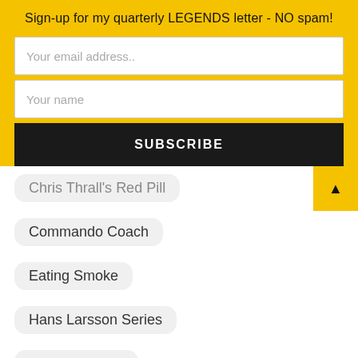Sign-up for my quarterly LEGENDS letter - NO spam!
Your email address..
Your name
SUBSCRIBE
Chris Thrall's Red Pill
Commando Coach
Eating Smoke
Hans Larsson Series
Law and Order
Martial Arts
Military
On Writing
Reviews